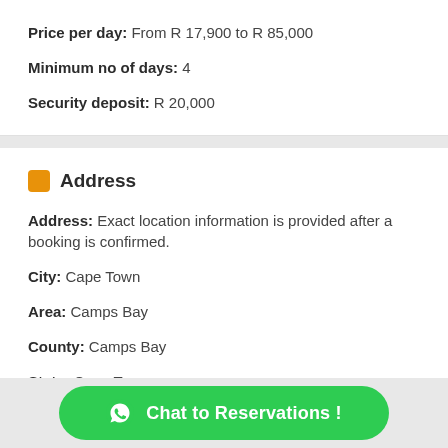Price per day: From R 17,900 to R 85,000
Minimum no of days: 4
Security deposit: R 20,000
Address
Address: Exact location information is provided after a booking is confirmed.
City: Cape Town
Area: Camps Bay
County: Camps Bay
State: Cape Town
Chat to Reservations !